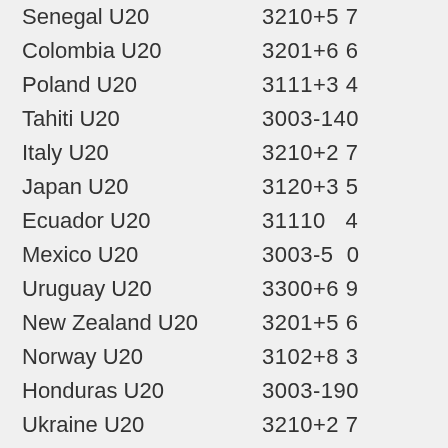| Team | Stats |
| --- | --- |
| Senegal U20 | 3210+5 7 |
| Colombia U20 | 3201+6 6 |
| Poland U20 | 3111+3 4 |
| Tahiti U20 | 3003-140 |
| Italy U20 | 3210+2 7 |
| Japan U20 | 3120+3 5 |
| Ecuador U20 | 31110   4 |
| Mexico U20 | 3003-5  0 |
| Uruguay U20 | 3300+6 9 |
| New Zealand U20 | 3201+5 6 |
| Norway U20 | 3102+8 3 |
| Honduras U20 | 3003-190 |
| Ukraine U20 | 3210+2 7 |
| United States U20 | 3201+2 6 |
| Nigeria U20 | 3111+2 4 |
| Qatar U20 | 3003-6  0 |
| France U20 | 3300+5 9 |
| Mali U20 | 31110   4 |